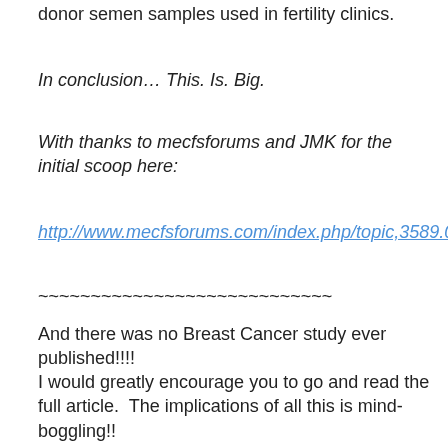donor semen samples used in fertility clinics.
In conclusion… This. Is. Big.
With thanks to mecfsforums and JMK for the initial scoop here:
http://www.mecfsforums.com/index.php/topic,3589.0.html
~~~~~~~~~~~~~~~~~~~~~~~~~~~~
And there was no Breast Cancer study ever published!!!!
I would greatly encourage you to go and read the full article.  The implications of all this is mind-boggling!!
Have a Great Day!!
Donna